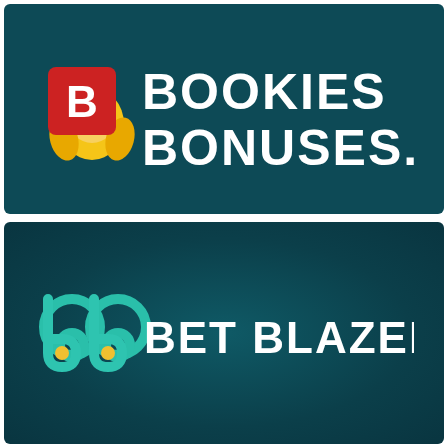[Figure (logo): BookiesBonuses.com logo on dark teal background. Features an owl mascot graphic with a red square containing a white 'B', alongside the text 'BOOKIES BONUSES.COM' in bold white uppercase letters.]
[Figure (logo): Bet Blazers logo on dark teal background. Features two circular 'bb' letterforms in teal/green with yellow dots, alongside the text 'BET BLAZERS' in bold white uppercase letters.]